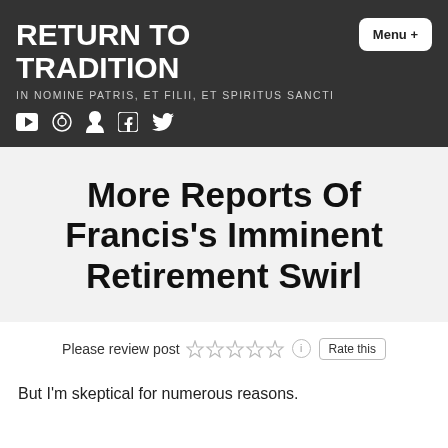RETURN TO TRADITION
IN NOMINE PATRIS, ET FILII, ET SPIRITUS SANCTI
More Reports Of Francis's Imminent Retirement Swirl
Please review post   Rate this
But I'm skeptical for numerous reasons.